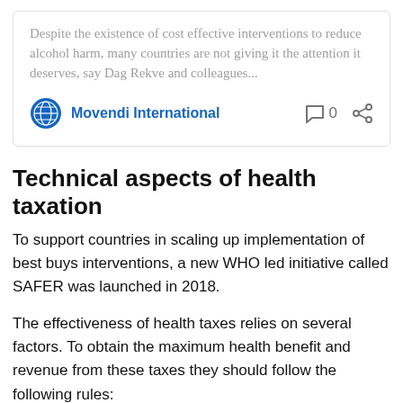Despite the existence of cost effective interventions to reduce alcohol harm, many countries are not giving it the attention it deserves, say Dag Rekve and colleagues...
Movendi International
Technical aspects of health taxation
To support countries in scaling up implementation of best buys interventions, a new WHO led initiative called SAFER was launched in 2018.
The effectiveness of health taxes relies on several factors. To obtain the maximum health benefit and revenue from these taxes they should follow the following rules: